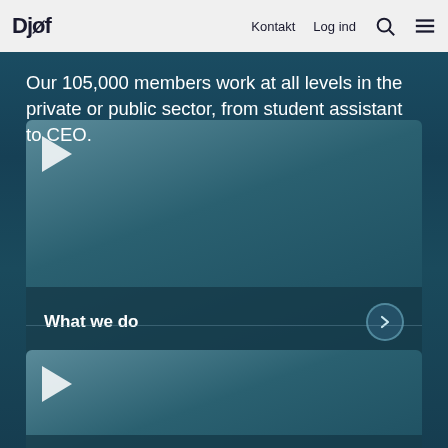Djøf  Kontakt  Log ind
more:
Our 105,000 members work at all levels in the private or public sector, from student assistant to CEO.
[Figure (screenshot): Video thumbnail card with play button and label 'What we do' with a chevron arrow circle button on the right. Dark teal blurred background.]
[Figure (screenshot): Video thumbnail card with play button and label 'Working in Denmark' with a chevron arrow circle button on the right. Dark teal blurred background.]